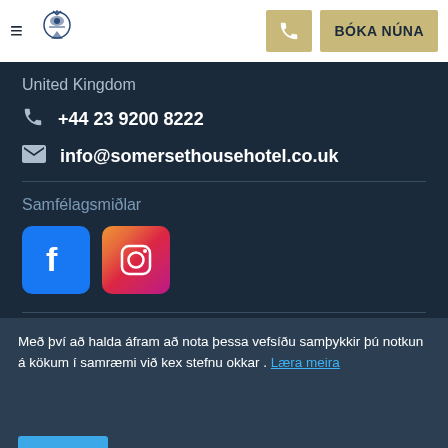BÓKA NÚNA
United Kingdom
+44 23 9200 8222
info@somersethousehotel.co.uk
Samfélagsmiðlar
[Figure (logo): Facebook logo icon - blue square with white f]
[Figure (logo): Instagram logo icon - pink/purple gradient square with camera outline]
Meira
Íslenska
Með því að halda áfram að nota þessa vefsíðu samþykkir þú notkun á kökum í samræmi við kex stefnu okkar . Læra meira